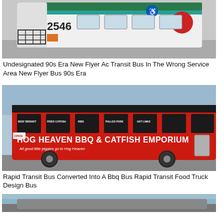[Figure (photo): Front view of a white transit bus numbered 2546 with an AC Transit logo, parked in a service area. The bus has a bicycle rack on the front.]
Undesignated 90s Era New Flyer Ac Transit Bus In The Wrong Service Area New Flyer Bus 90s Era
[Figure (photo): A red rapid transit bus converted into a BBQ food truck, branded as 'Hog Heaven BBQ & Catfish Emporium' with menu items including Beef Brisket, Fried Catfish, Ribs, Pulled Pork, and Hot Links. The bus has the tagline 'All good little piggies go to Hog Heaven'.]
Rapid Transit Bus Converted Into A Bbq Bus Rapid Transit Food Truck Design Bus
[Figure (photo): Partial view of another bus or vehicle at the bottom of the page, cut off.]